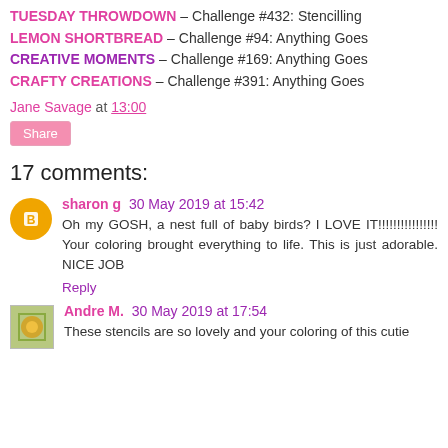TUESDAY THROWDOWN – Challenge #432: Stencilling
LEMON SHORTBREAD – Challenge #94: Anything Goes
CREATIVE MOMENTS – Challenge #169: Anything Goes
CRAFTY CREATIONS – Challenge #391: Anything Goes
Jane Savage at 13:00
Share
17 comments:
sharon g 30 May 2019 at 15:42
Oh my GOSH, a nest full of baby birds? I LOVE IT!!!!!!!!!!!!!!!! Your coloring brought everything to life. This is just adorable. NICE JOB
Reply
Andre M. 30 May 2019 at 17:54
These stencils are so lovely and your coloring of this cutie